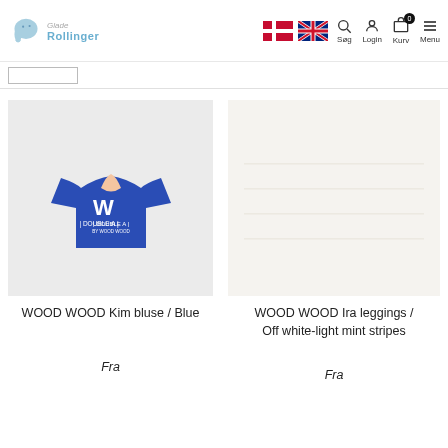[Figure (screenshot): Glade Rollinger e-commerce website navigation bar with logo, Danish and UK flags, search, login, cart and menu icons]
[Figure (photo): WOOD WOOD Kim blue long-sleeve shirt with W logo on light grey background]
WOOD WOOD Kim bluse / Blue
Fra
[Figure (photo): WOOD WOOD Ira leggings off white light mint stripes product on cream background]
WOOD WOOD Ira leggings / Off white-light mint stripes
Fra